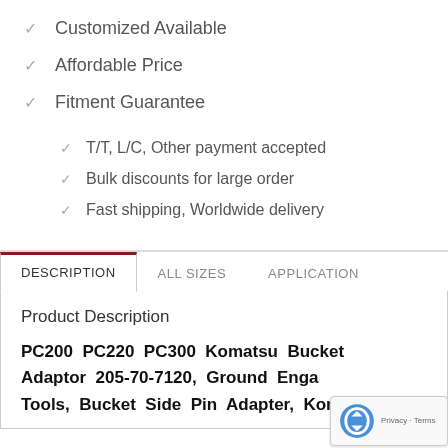Customized Available
Affordable Price
Fitment Guarantee
T/T, L/C, Other payment accepted
Bulk discounts for large order
Fast shipping, Worldwide delivery
DESCRIPTION | ALL SIZES | APPLICATION
Product Description
PC200 PC220 PC300 Komatsu Bucket Adaptor 205-70-7120, Ground Enga Tools, Bucket Side Pin Adapter, Komatsu